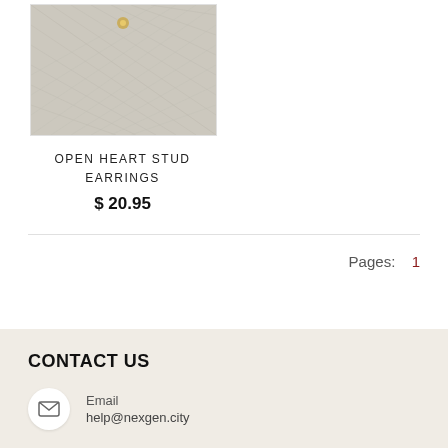[Figure (photo): Product photo of open heart stud earrings on a light fabric/textile background]
OPEN HEART STUD EARRINGS
$ 20.95
Pages:  1
CONTACT US
Email
help@nexgen.city